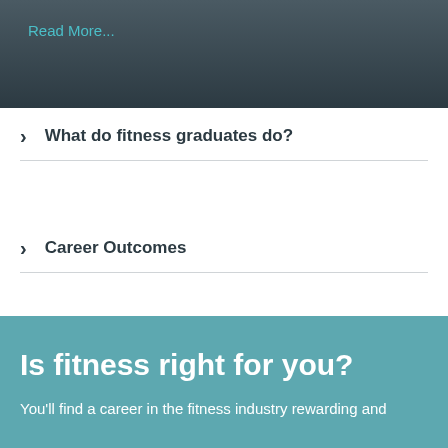Read More...
What do fitness graduates do?
Career Outcomes
Is fitness right for you?
You'll find a career in the fitness industry rewarding and